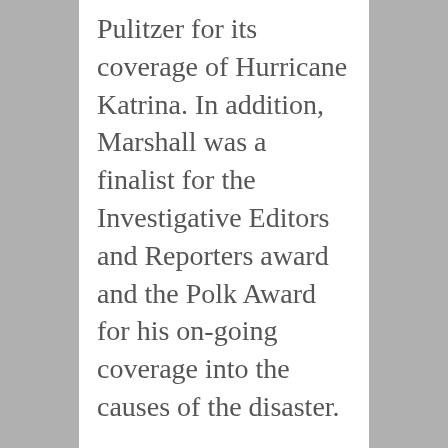Pulitzer for its coverage of Hurricane Katrina. In addition, Marshall was a finalist for the Investigative Editors and Reporters award and the Polk Award for his on-going coverage into the causes of the disaster.
In 2007 Marshall was co-author of the series entitled “Last Chance: The Fight to Save a Disappearing Coast,” about Louisiana’s coastal erosion problems, which won